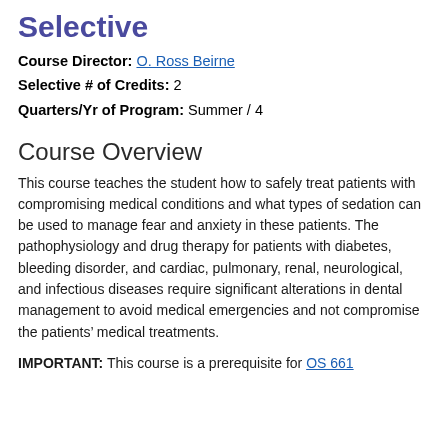Selective
Course Director: O. Ross Beirne
Selective # of Credits: 2
Quarters/Yr of Program: Summer / 4
Course Overview
This course teaches the student how to safely treat patients with compromising medical conditions and what types of sedation can be used to manage fear and anxiety in these patients. The pathophysiology and drug therapy for patients with diabetes, bleeding disorder, and cardiac, pulmonary, renal, neurological, and infectious diseases require significant alterations in dental management to avoid medical emergencies and not compromise the patients’ medical treatments.
IMPORTANT: This course is a prerequisite for OS 661